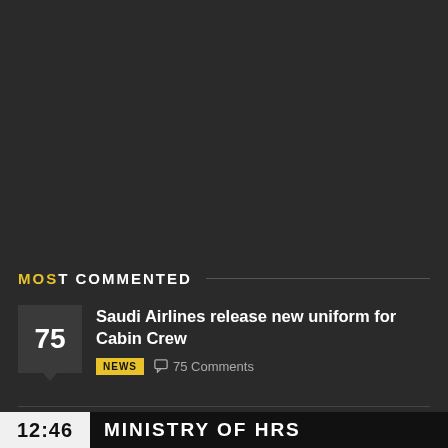MOST COMMENTED
Saudi Airlines release new uniform for Cabin Crew
NEWS  75 Comments
Latest Penalties on Iqama Violations in Saudi Arabia
12:46  MINISTRY OF HRS